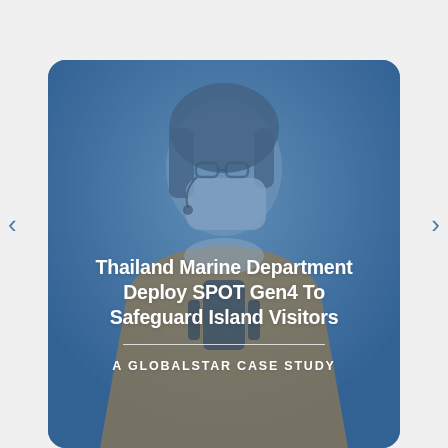[Figure (photo): A person wearing a face mask, glasses, and an orange safety vest with equipment strapped to it, shown against a blue-tinted background. The image has a strong blue overlay giving the whole card a blue tone.]
Thailand Marine Department Deploy SPOT Gen4 To Safeguard Island Visitors
A GLOBALSTAR CASE STUDY